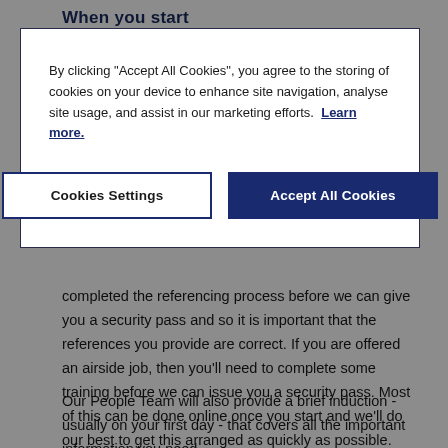When you start
[Figure (screenshot): Cookie consent modal dialog with text 'By clicking "Accept All Cookies", you agree to the storing of cookies on your device to enhance site navigation, analyse site usage, and assist in our marketing efforts. Learn more.' and two buttons: 'Cookies Settings' and 'Accept All Cookies']
completed the referencing process before we can give you a security pass and so it is important that the references you provide are correct. If you are offered an airside job, then you'll need to complete some training before we can issue you a security pass. Most of this can be done online once you start and we'll do our best to get this arranged as quickly as possible.
Our People Team will also provide a brief induction - usually on your first day - that covers all the important information you need